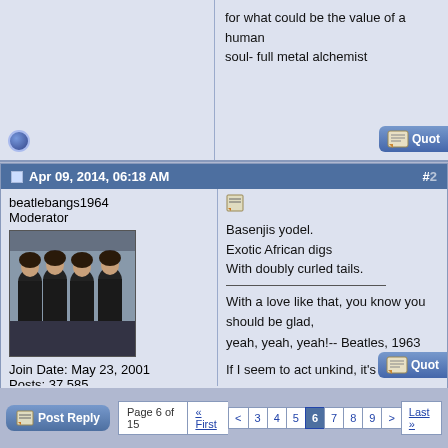for what could be the value of a human soul- full metal alchemist
Apr 09, 2014, 06:18 AM
beatlebangs1964
Moderator
[Figure (photo): Avatar photo of four young men (The Beatles) in suits]
Join Date: May 23, 2001
Posts: 37,585
* Premium Member *
-
* BeatleLinks Donor *
Basenjis yodel.
Exotic African digs
With doubly curled tails.

With a love like that, you know you should be glad, yeah, yeah, yeah!-- Beatles, 1963

If I seem to act unkind, it's only me, it's not my mind -- George Harrison, 1966
http://www.ipetitions.com/petition/c...rtc/signatures
http://www.reddit.com/r/troubledteen...aten_at_gree
http://www.youtube.com/watch?v=g7g0oiJ52Gw
Page 6 of 15  « First  <  3  4  5  6  7  8  9  >  Last »